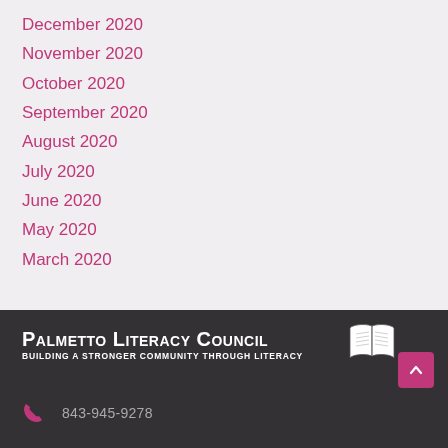December 2020
November 2020
October 2020
September 2020
August 2020
July 2020
June 2020
May 2020
March 2020
Palmetto Literacy Council
Building a Stronger Community Through Literacy
843-945-9278